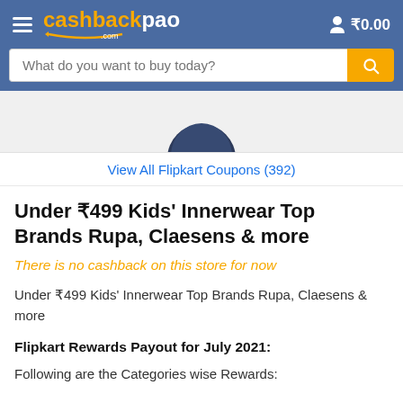cashbackpao.com — ₹0.00
[Figure (screenshot): Partial product image of dark navy blue kids innerwear item, cropped at top]
View All Flipkart Coupons (392)
Under ₹499 Kids' Innerwear Top Brands Rupa, Claesens & more
There is no cashback on this store for now
Under ₹499 Kids' Innerwear Top Brands Rupa, Claesens & more
Flipkart Rewards Payout for July 2021:
Following are the Categories wise Rewards: